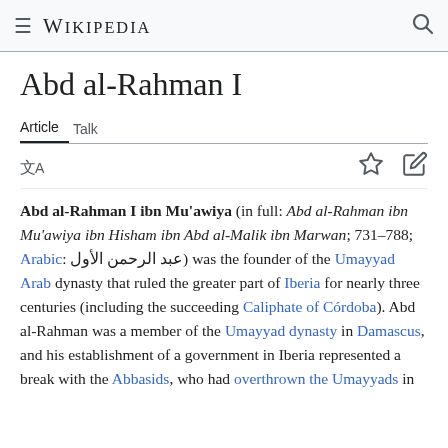Wikipedia
Abd al-Rahman I
Article   Talk
Abd al-Rahman I ibn Mu'awiya (in full: Abd al-Rahman ibn Mu'awiya ibn Hisham ibn Abd al-Malik ibn Marwan; 731–788; Arabic: عبد الرحمن الأول) was the founder of the Umayyad Arab dynasty that ruled the greater part of Iberia for nearly three centuries (including the succeeding Caliphate of Córdoba). Abd al-Rahman was a member of the Umayyad dynasty in Damascus, and his establishment of a government in Iberia represented a break with the Abbasids, who had overthrown the Umayyads in